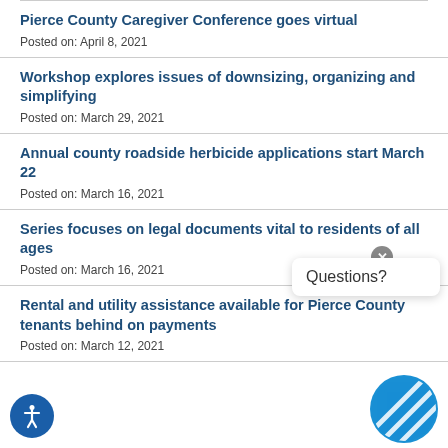Pierce County Caregiver Conference goes virtual
Posted on: April 8, 2021
Workshop explores issues of downsizing, organizing and simplifying
Posted on: March 29, 2021
Annual county roadside herbicide applications start March 22
Posted on: March 16, 2021
Series focuses on legal documents vital to residents of all ages
Posted on: March 16, 2021
Rental and utility assistance available for Pierce County tenants behind on payments
Posted on: March 12, 2021